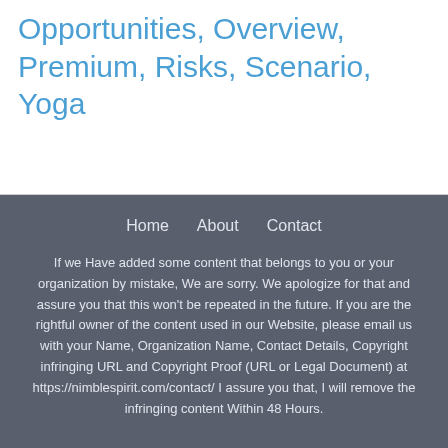Opportunities, Overview, Premium, Risks, Scenario, Yoga
Home   About   Contact
If we Have added some content that belongs to you or your organization by mistake, We are sorry. We apologize for that and assure you that this won't be repeated in the future. If you are the rightful owner of the content used in our Website, please email us with your Name, Organization Name, Contact Details, Copyright infringing URL and Copyright Proof (URL or Legal Document) at https://nimblespirit.com/contact/ I assure you that, I will remove the infringing content Within 48 Hours.